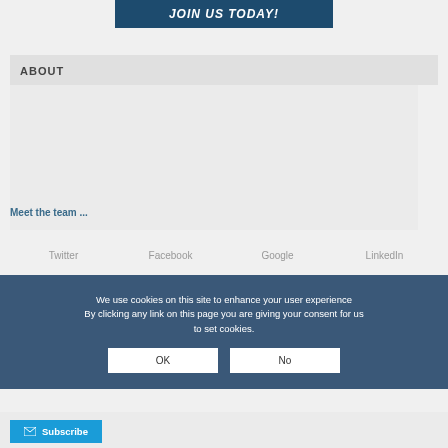JOIN US TODAY!
ABOUT
Meet the team ...
Twitter   Facebook   Google   LinkedIn
We use cookies on this site to enhance your user experience By clicking any link on this page you are giving your consent for us to set cookies.
OK   No
Subscribe